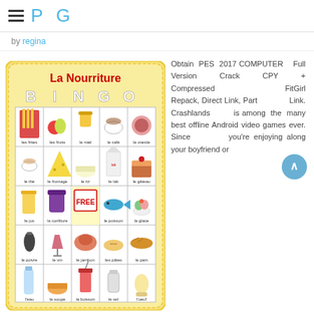PG
by regina
[Figure (illustration): La Nourriture BINGO card with French food vocabulary illustrations in a 5x5 grid with wavy yellow border. Foods shown include: les frites, les fruits, le miel, le café, la viande, le thé, le fromage, le riz, le lait, le gâteau, le jus, la confiture, FREE, le poisson, la glace, le poivre, le vin, le jambon, les pâtes, le pain, l'eau, la soupe, la boisson, le sel, l'oeuf]
Obtain PES 2017 COMPUTER Full Version Crack CPY + Compressed FitGirl Repack, Direct Link, Part Link. Crashlands is among the many best offline Android video games ever. Since you're enjoying along your boyfriend or